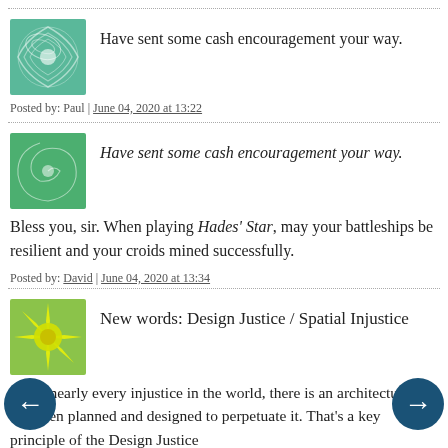Have sent some cash encouragement your way.
Posted by: Paul | June 04, 2020 at 13:22
Have sent some cash encouragement your way.
Bless you, sir. When playing Hades' Star, may your battleships be resilient and your croids mined successfully.
Posted by: David | June 04, 2020 at 13:34
New words: Design Justice / Spatial Injustice
"..For nearly every injustice in the world, there is an architecture that has been planned and designed to perpetuate it. That's a key principle of the Design Justice